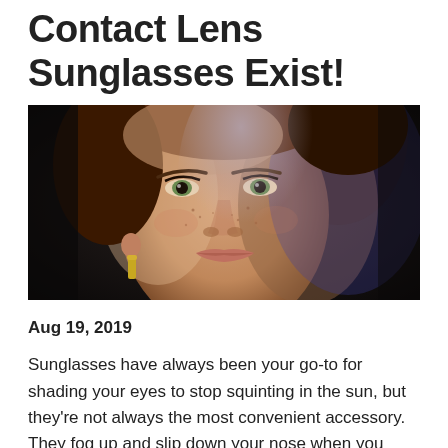Contact Lens Sunglasses Exist!
[Figure (photo): Close-up portrait of a young woman with freckles, green eyes, and auburn hair pulled back, wearing a gold earring, dark background with dramatic lighting.]
Aug 19, 2019
Sunglasses have always been your go-to for shading your eyes to stop squinting in the sun, but they're not always the most convenient accessory. They fog up and slip down your nose when you